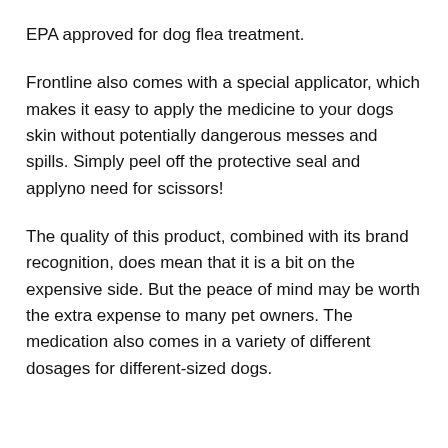EPA approved for dog flea treatment.
Frontline also comes with a special applicator, which makes it easy to apply the medicine to your dogs skin without potentially dangerous messes and spills. Simply peel off the protective seal and applyno need for scissors!
The quality of this product, combined with its brand recognition, does mean that it is a bit on the expensive side. But the peace of mind may be worth the extra expense to many pet owners. The medication also comes in a variety of different dosages for different-sized dogs.